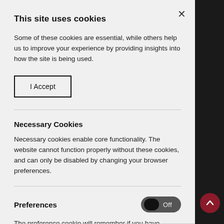This site uses cookies
Some of these cookies are essential, while others help us to improve your experience by providing insights into how the site is being used.
I Accept
Necessary Cookies
Necessary cookies enable core functionality. The website cannot function properly without these cookies, and can only be disabled by changing your browser preferences.
Preferences
The preference cookie will remember if you have dismissed the COVID-19 message on our website.